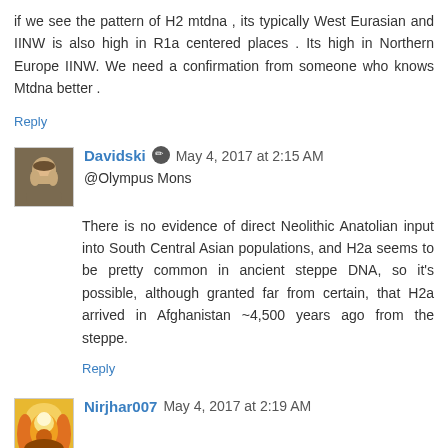if we see the pattern of H2 mtdna , its typically West Eurasian and IINW is also high in R1a centered places . Its high in Northern Europe IINW. We need a confirmation from someone who knows Mtdna better .
Reply
[Figure (photo): Avatar of user Davidski - bearded man photo]
Davidski  May 4, 2017 at 2:15 AM
@Olympus Mons
There is no evidence of direct Neolithic Anatolian input into South Central Asian populations, and H2a seems to be pretty common in ancient steppe DNA, so it's possible, although granted far from certain, that H2a arrived in Afghanistan ~4,500 years ago from the steppe.
Reply
[Figure (photo): Avatar of user Nirjhar007 - colorful religious/nature image]
Nirjhar007  May 4, 2017 at 2:19 AM